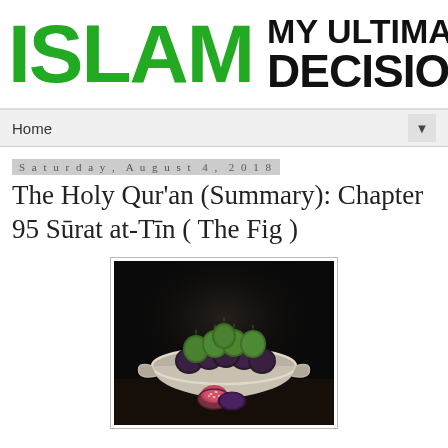[Figure (logo): Website header banner: 'ISLAM' in large green bold text on the left, 'MY ULTIMATE DECISION' in large black bold text on the right]
Home ▼
Saturday, August 4, 2018
The Holy Qur'an (Summary): Chapter 95 Sūrat at-Tīn ( The Fig )
[Figure (photo): Dark background photo of a white ceramic bowl filled with green and dark purple/black figs, with a halved fig in front on a wooden surface]